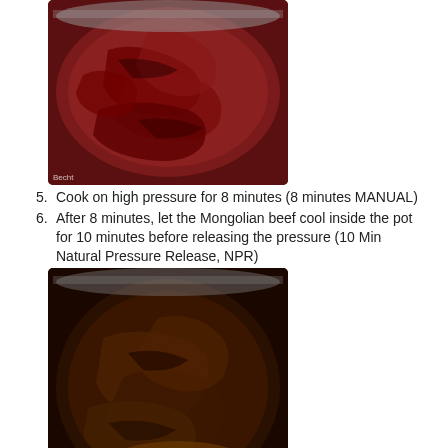[Figure (photo): Raw marinated beef strips in an Instant Pot, showing red/dark meat with sauce before cooking]
5. Cook on high pressure for 8 minutes (8 minutes MANUAL)
6. After 8 minutes, let the Mongolian beef cool inside the pot for 10 minutes before releasing the pressure (10 Min Natural Pressure Release, NPR)
[Figure (photo): Cooked Mongolian beef in dark sauce inside an Instant Pot after pressure cooking]
7. In a small bowl, combine the water and the cornstarch until there are no lumps
8. Turn the SAUTE button on your Instant Pot and pour in the cornstarch mixture. Let the sauce boil until it thickens. 1-2 minutes
9. Pour the beef into a platter and garnish with green onions. Enjoy!
Nutrition Facts